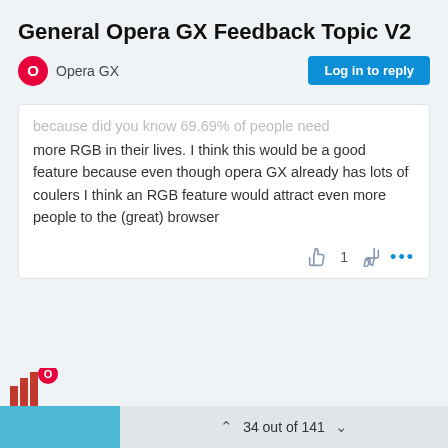General Opera GX Feedback Topic V2
Opera GX
because did you know 69.69% of people need more RGB in their lives. I think this would be a good feature because even though opera GX already has lots of coulers I think an RGB feature would attract even more people to the (great) browser
34 out of 141